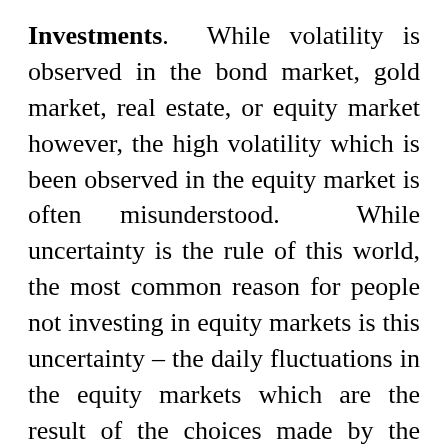Investments. While volatility is observed in the bond market, gold market, real estate, or equity market however, the high volatility which is been observed in the equity market is often misunderstood. While uncertainty is the rule of this world, the most common reason for people not investing in equity markets is this uncertainty – the daily fluctuations in the equity markets which are the result of the choices made by the investors as a collective group, which are themselves the result of their collective emotions. This means that, in a way, each investor is responsible for the fluctuations in the market.